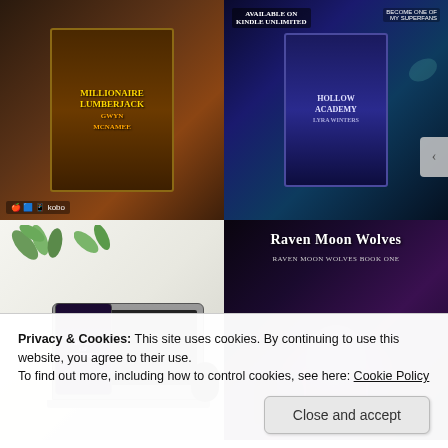[Figure (photo): Tablet showing 'Millionaire Lumberjack' book cover by Gwyn McNamee, surrounded by red roses on a white background, with retailer icons at bottom]
[Figure (photo): Tablet showing 'Hollow Academy' by Lyra Winters book cover against a fantasy underwater/butterfly scene background with 'Available on Kindle Unlimited' and 'Patrons' text]
[Figure (photo): Flat lay photo of laptop, phone showing 'Bonds of Kindred' book cover, mouse, and eucalyptus leaves on white background]
[Figure (photo): 'Raven Moon Wolves' book series banner with woman and wolves against purple cosmic background]
Privacy & Cookies: This site uses cookies. By continuing to use this website, you agree to their use.
To find out more, including how to control cookies, see here: Cookie Policy
Close and accept